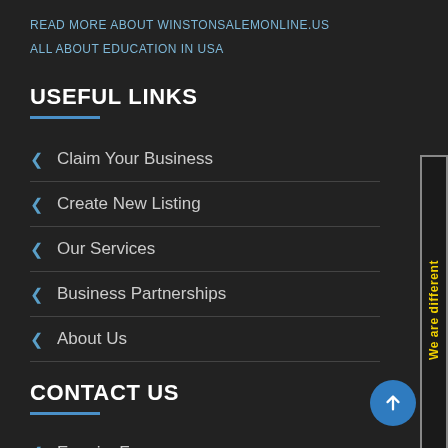READ MORE ABOUT WINSTONSALEMONLINE.US
ALL ABOUT EDUCATION IN USA
USEFUL LINKS
Claim Your Business
Create New Listing
Our Services
Business Partnerships
About Us
CONTACT US
Enquiry Form
[Figure (other): Vertical side banner with yellow text reading 'We are different' on dark background with border]
[Figure (other): Blue circular scroll-to-top button with upward arrow icon]